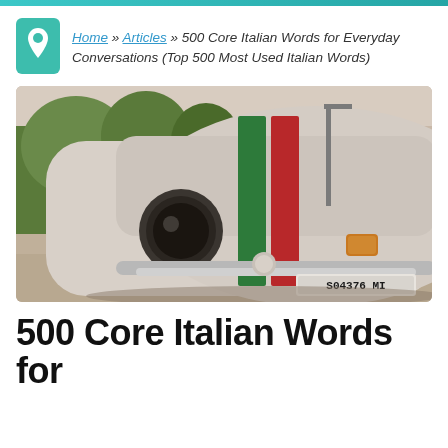Home » Articles » 500 Core Italian Words for Everyday Conversations (Top 500 Most Used Italian Words)
[Figure (photo): Close-up photo of a vintage Fiat 500 car with Italian flag stripe (green and red) painted on the hood, with license plate reading S04376 MI]
500 Core Italian Words for